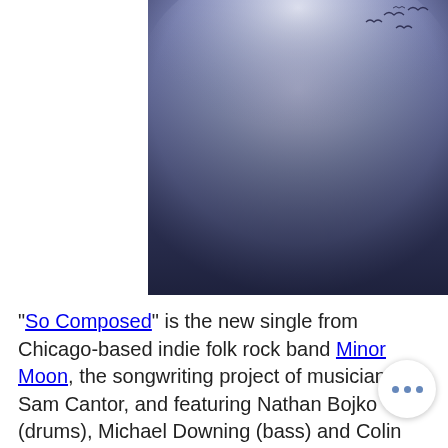[Figure (photo): A blurry, atmospheric photo with a blue-grey foggy sky background and a few dark bird silhouettes in the upper right corner. The bottom of the image transitions to a slightly darker, muted blue-purple gradient suggesting a landscape horizon.]
"So Composed" is the new single from Chicago-based indie folk rock band Minor Moon, the songwriting project of musician Sam Cantor, and featuring Nathan Bojko (drums), Michael Downing (bass) and Colin Drozdoff (keyboards). It is the first sample of Minor Moon compositions that will be